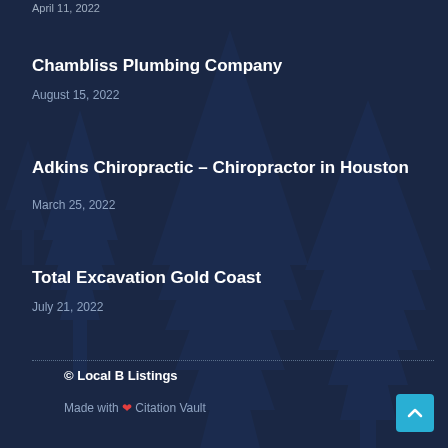April 11, 2022
Chambliss Plumbing Company
August 15, 2022
Adkins Chiropractic – Chiropractor in Houston
March 25, 2022
Total Excavation Gold Coast
July 21, 2022
© Local B Listings
Made with ❤ Citation Vault